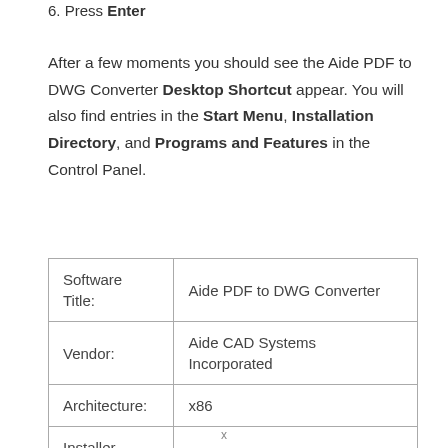6. Press Enter
After a few moments you should see the Aide PDF to DWG Converter Desktop Shortcut appear. You will also find entries in the Start Menu, Installation Directory, and Programs and Features in the Control Panel.
| Software Title: | Aide PDF to DWG Converter |
| Vendor: | Aide CAD Systems Incorporated |
| Architecture: | x86 |
| Installer Type: | EXE |